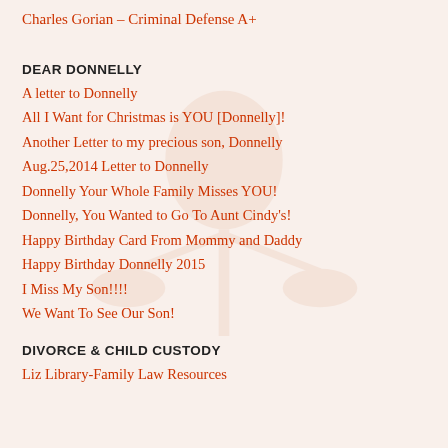Charles Gorian – Criminal Defense A+
DEAR DONNELLY
A letter to Donnelly
All I Want for Christmas is YOU [Donnelly]!
Another Letter to my precious son, Donnelly
Aug.25,2014 Letter to Donnelly
Donnelly Your Whole Family Misses YOU!
Donnelly, You Wanted to Go To Aunt Cindy's!
Happy Birthday Card From Mommy and Daddy
Happy Birthday Donnelly 2015
I Miss My Son!!!!
We Want To See Our Son!
DIVORCE & CHILD CUSTODY
Liz Library-Family Law Resources